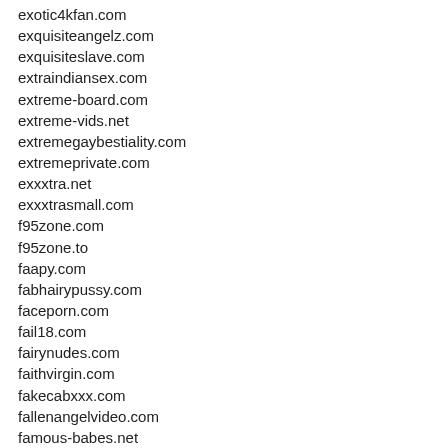exotic4kfan.com
exquisiteangelz.com
exquisiteslave.com
extraindiansex.com
extreme-board.com
extreme-vids.net
extremegaybestiality.com
extremeprivate.com
exxxtra.net
exxxtrasmall.com
f95zone.com
f95zone.to
faapy.com
fabhairypussy.com
faceporn.com
fail18.com
fairynudes.com
faithvirgin.com
fakecabxxx.com
fallenangelvideo.com
famous-babes.net
famousdick.com
fantasti.cc
fantasticnudes.com
fap1.com